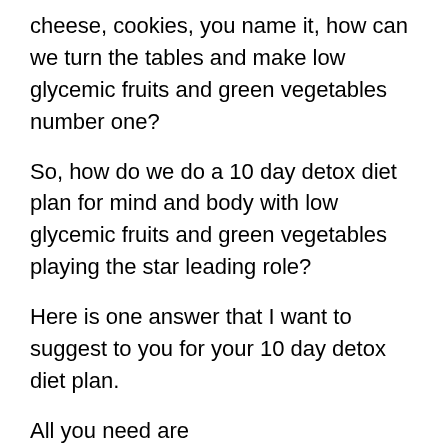cheese, cookies, you name it, how can we turn the tables and make low glycemic fruits and green vegetables number one?
So, how do we do a 10 day detox diet plan for mind and body with low glycemic fruits and green vegetables playing the star leading role?
Here is one answer that I want to suggest to you for your 10 day detox diet plan.
All you need are
number one, green vegetables, such as spinach, argula, lettuce, kale or collard greens. These days, getting green vegetables pre washed and packaged is fairly easy at your local grocery.